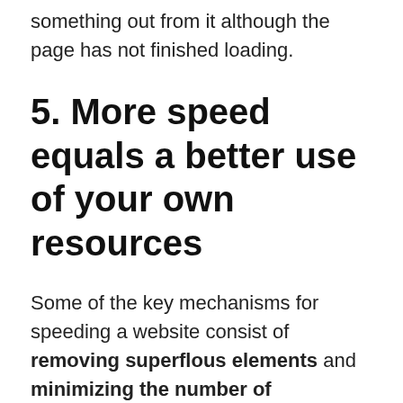something out from it although the page has not finished loading.
5. More speed equals a better use of your own resources
Some of the key mechanisms for speeding a website consist of removing superflous elements and minimizing the number of connections made to the server when pages requested by users are loaded. This is